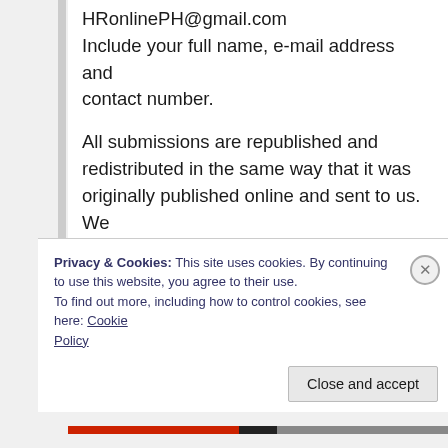HRonlinePH@gmail.com
Include your full name, e-mail address and contact number.
All submissions are republished and redistributed in the same way that it was originally published online and sent to us. We may edit submission in a way that does not alter or change the original material.
Human Rights Online Philippines does not hold copyright over these materials. Author/s and
Privacy & Cookies: This site uses cookies. By continuing to use this website, you agree to their use.
To find out more, including how to control cookies, see here: Cookie Policy
Close and accept